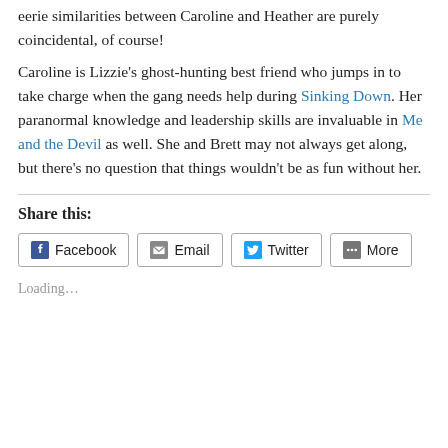eerie similarities between Caroline and Heather are purely coincidental, of course!
Caroline is Lizzie's ghost-hunting best friend who jumps in to take charge when the gang needs help during Sinking Down. Her paranormal knowledge and leadership skills are invaluable in Me and the Devil as well. She and Brett may not always get along, but there's no question that things wouldn't be as fun without her.
Share this:
[Figure (other): Social share buttons: Facebook, Email, Twitter, More]
Loading...